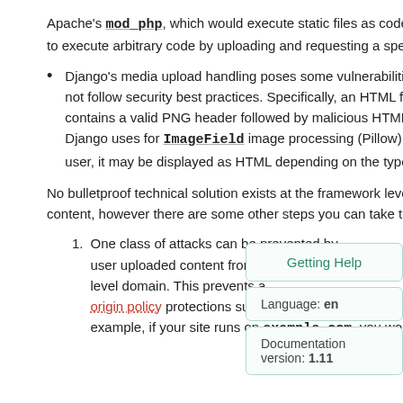Apache's mod_php, which would execute static files as code, are disabled. You don't want users to be able to execute arbitrary code by uploading and requesting a specially crafted file.
Django's media upload handling poses some vulnerabilities when that media is served in ways that do not follow security best practices. Specifically, an HTML file can be uploaded as an image if that file contains a valid PNG header followed by malicious HTML. This file will pass verification of the library that Django uses for ImageField image processing (Pillow). When this file is subsequently displayed to a user, it may be displayed as HTML depending on the type and configuration of your web server.
No bulletproof technical solution exists at the framework level to safely validate all user uploaded file content, however there are some other steps you can take to mitigate these a…
One class of attacks can be prevented by … user uploaded content from a distinct top … level domain. This prevents a … origin policy protections suc… example, if your site runs on example.com, you would want
Getting Help
Language: en
Documentation version: 1.11